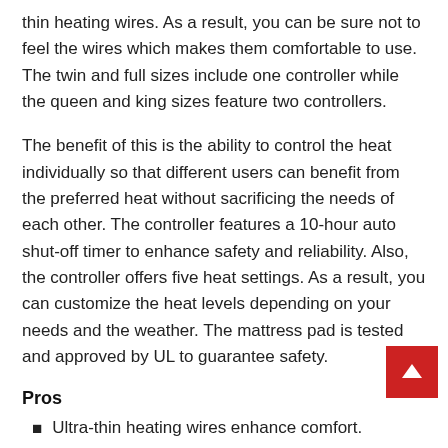thin heating wires. As a result, you can be sure not to feel the wires which makes them comfortable to use. The twin and full sizes include one controller while the queen and king sizes feature two controllers.
The benefit of this is the ability to control the heat individually so that different users can benefit from the preferred heat without sacrificing the needs of each other. The controller features a 10-hour auto shut-off timer to enhance safety and reliability. Also, the controller offers five heat settings. As a result, you can customize the heat levels depending on your needs and the weather. The mattress pad is tested and approved by UL to guarantee safety.
Pros
Ultra-thin heating wires enhance comfort.